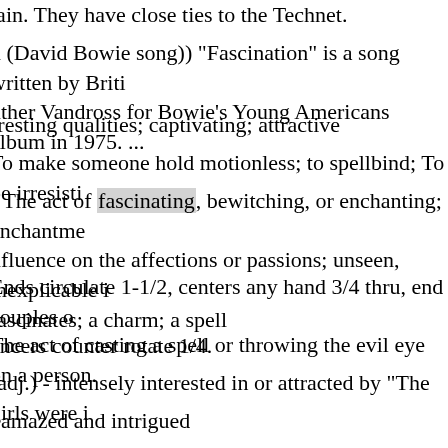tain. They have close ties to the Technet.
n (David Bowie song)) "Fascination" is a song written by Briti...uther Vandross for Bowie's Young Americans album in 1975. ...
rresting qualities; captivating; attractive
To make someone hold motionless; to spellbind; To be irresisti...
) The act of fascinating, bewitching, or enchanting; enchantme...nfluence on the affections or passions; unseen, inexplicable i...fascinates; a charm; a spell
Ends circulate 1-1/2, centers any hand 3/4 thru, end couples o...ancers counter rotate 1/4.
The act of casting a spell or throwing the evil eye on a person.
(adj.) - intensely interested in or attracted by "The girls were i...
amazed and intrigued
(mind-bending)) It is the mental effort to control an animal o...
n) Bewitching, exercising a charm or spell over another person...ill, but more often the word has an evil implication. ...